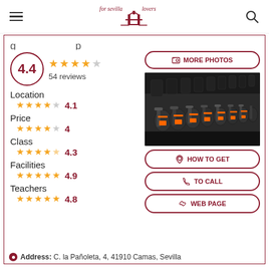For Sevilla Lovers
4.4 · 54 reviews
Location 4.1
Price 4
Class 4.3
Facilities 4.9
Teachers 4.8
[Figure (photo): Rows of gym cardio machines (ellipticals/exercise bikes) with orange accents]
Address: C. la Pañoleta, 4, 41910 Camas, Sevilla